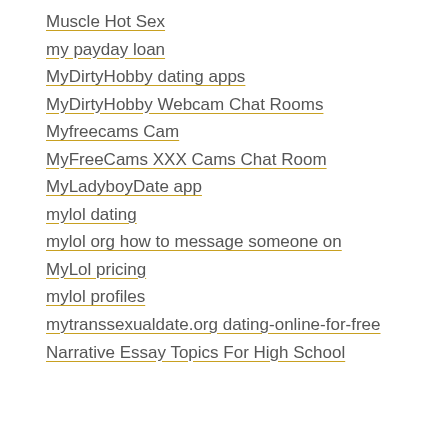Muscle Hot Sex
my payday loan
MyDirtyHobby dating apps
MyDirtyHobby Webcam Chat Rooms
Myfreecams Cam
MyFreeCams XXX Cams Chat Room
MyLadyboyDate app
mylol dating
mylol org how to message someone on
MyLol pricing
mylol profiles
mytranssexualdate.org dating-online-for-free
Narrative Essay Topics For High School